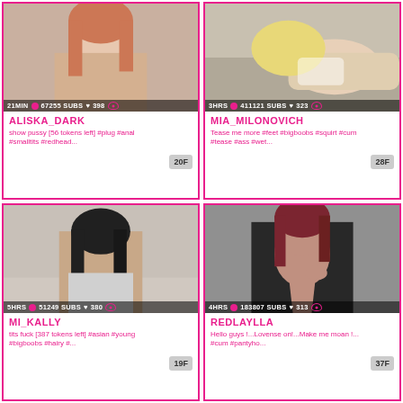[Figure (screenshot): Webcam thumbnail of ALISKA_DARK with stats bar showing 21MIN, 67255 SUBS, 398]
ALISKA_DARK
show pussy [56 tokens left] #plug #anal #smalltits #redhead...
20F
[Figure (screenshot): Webcam thumbnail of MIA_MILONOVICH with stats bar showing 3HRS, 411121 SUBS, 323]
MIA_MILONOVICH
Tease me more #feet #bigboobs #squirt #cum #tease #ass #wet...
28F
[Figure (screenshot): Webcam thumbnail of MI_KALLY with stats bar showing 5HRS, 51249 SUBS, 380]
MI_KALLY
tits fuck [387 tokens left] #asian #young #bigboobs #hairy #...
19F
[Figure (screenshot): Webcam thumbnail of REDLAYLLA with stats bar showing 4HRS, 183807 SUBS, 313]
REDLAYLLA
Hello guys !...Lovense on!...Make me moan !... #cum #pantyho...
37F